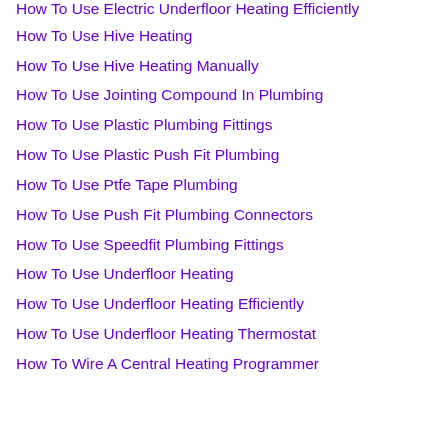How To Use Electric Underfloor Heating Efficiently
How To Use Hive Heating
How To Use Hive Heating Manually
How To Use Jointing Compound In Plumbing
How To Use Plastic Plumbing Fittings
How To Use Plastic Push Fit Plumbing
How To Use Ptfe Tape Plumbing
How To Use Push Fit Plumbing Connectors
How To Use Speedfit Plumbing Fittings
How To Use Underfloor Heating
How To Use Underfloor Heating Efficiently
How To Use Underfloor Heating Thermostat
How To Wire A Central Heating Programmer